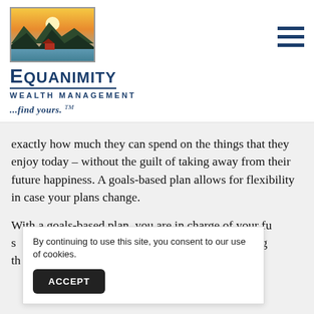[Figure (logo): Equanimity Wealth Management logo with mountain landscape illustration above the brand name]
exactly how much they can spend on the things that they enjoy today – without the guilt of taking away from their future happiness. A goals-based plan allows for flexibility in case your plans change.
With a goals-based plan, you are in charge of your fu
By continuing to use this site, you consent to our use of cookies.
ACCEPT